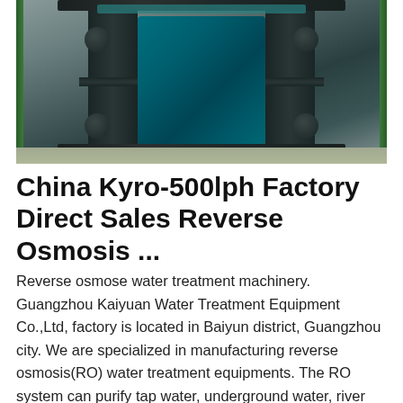[Figure (photo): Industrial reverse osmosis water treatment machine/pump unit with dark metal frame structure and teal/blue central body, photographed in a factory or industrial setting. The equipment has a rectangular dark pipe frame with rounded corners and bolt-like knobs at the corners, with a teal-colored central component.]
China Kyro-500lph Factory Direct Sales Reverse Osmosis ...
Reverse osmose water treatment machinery. Guangzhou Kaiyuan Water Treatment Equipment Co.,Ltd, factory is located in Baiyun district, Guangzhou city. We are specialized in manufacturing reverse osmosis(RO) water treatment equipments. The RO system can purify tap water, underground water, river water and seawater to drinking pure water.